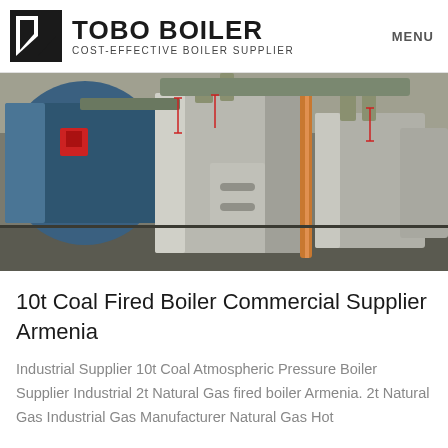TOBO BOILER — COST-EFFECTIVE BOILER SUPPLIER — MENU
[Figure (photo): Industrial boiler room showing multiple large stainless steel boilers with blue cylindrical units and orange pipes in a factory setting.]
10t Coal Fired Boiler Commercial Supplier Armenia
Industrial Supplier 10t Coal Atmospheric Pressure Boiler Supplier Industrial 2t Natural Gas fired boiler Armenia. 2t Natural Gas Industrial Gas Manufacturer Natural Gas Hot